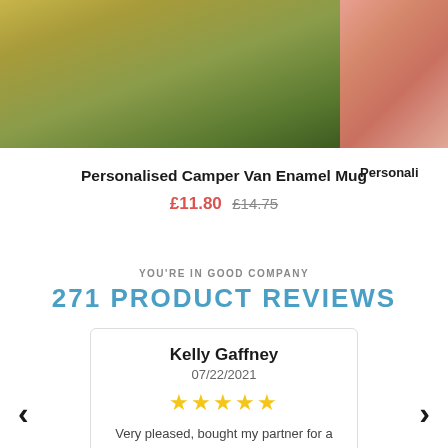[Figure (photo): Product photo of a personalised camper van enamel mug with blurred green outdoor background]
[Figure (photo): Partial product photo showing pink/coral textured item, partially cropped]
Personalised Camper Van Enamel Mug
£11.80 £14.75
Personali
YOU'RE IN GOOD COMPANY
271 PRODUCT REVIEWS
Kelly Gaffney
07/22/2021
★★★★★
Very pleased, bought my partner for a birthday gift and he absolutely loved it! Quick delivery and excellent quality